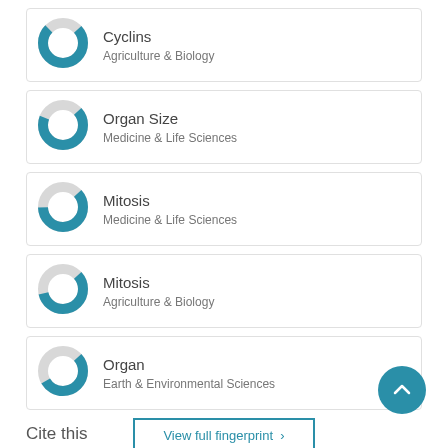Cyclins
Agriculture & Biology
Organ Size
Medicine & Life Sciences
Mitosis
Medicine & Life Sciences
Mitosis
Agriculture & Biology
Organ
Earth & Environmental Sciences
View full fingerprint >
Cite this